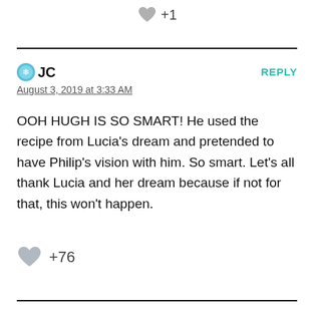+1
JC
REPLY
August 3, 2019 at 3:33 AM
OOH HUGH IS SO SMART! He used the recipe from Lucia's dream and pretended to have Philip's vision with him. So smart. Let's all thank Lucia and her dream because if not for that, this won't happen.
+76